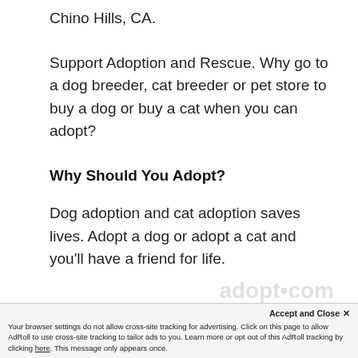Chino Hills, CA.
Support Adoption and Rescue. Why go to a dog breeder, cat breeder or pet store to buy a dog or buy a cat when you can adopt?
Why Should You Adopt?
Dog adoption and cat adoption saves lives. Adopt a dog or adopt a cat and you'll have a friend for life.
Accept and Close ✕ Your browser settings do not allow cross-site tracking for advertising. Click on this page to allow AdRoll to use cross-site tracking to tailor ads to you. Learn more or opt out of this AdRoll tracking by clicking here. This message only appears once.